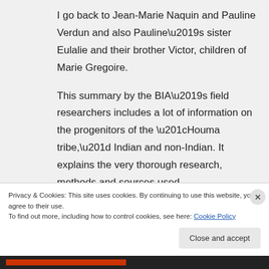I go back to Jean-Marie Naquin and Pauline Verdun and also Pauline’s sister Eulalie and their brother Victor, children of Marie Gregoire.
This summary by the BIA’s field researchers includes a lot of information on the progenitors of the “Houma tribe,” Indian and non-Indian. It explains the very thorough research, methods and sources used.
Privacy & Cookies: This site uses cookies. By continuing to use this website, you agree to their use.
To find out more, including how to control cookies, see here: Cookie Policy